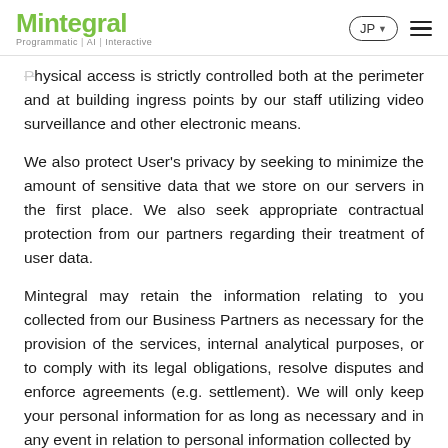Mintegral | Programmatic | AI | Interactive | JP
Physical access is strictly controlled both at the perimeter and at building ingress points by our staff utilizing video surveillance and other electronic means.
We also protect User's privacy by seeking to minimize the amount of sensitive data that we store on our servers in the first place. We also seek appropriate contractual protection from our partners regarding their treatment of user data.
Mintegral may retain the information relating to you collected from our Business Partners as necessary for the provision of the services, internal analytical purposes, or to comply with its legal obligations, resolve disputes and enforce agreements (e.g. settlement). We will only keep your personal information for as long as necessary and in any event in relation to personal information collected by